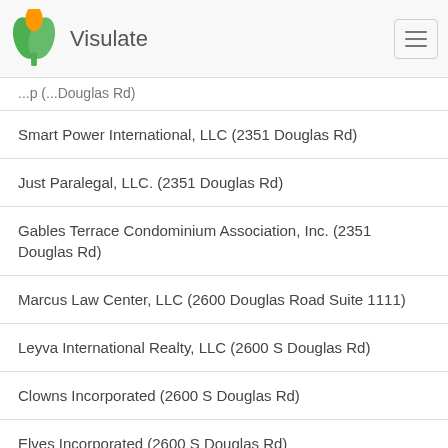Visulate
Smart Power International, LLC (2351 Douglas Rd)
Just Paralegal, LLC. (2351 Douglas Rd)
Gables Terrace Condominium Association, Inc. (2351 Douglas Rd)
Marcus Law Center, LLC (2600 Douglas Road Suite 1111)
Leyva International Realty, LLC (2600 S Douglas Rd)
Clowns Incorporated (2600 S Douglas Rd)
Elves Incorporated (2600 S Douglas Rd)
Tavil Usa Corp (2600 S Douglas Rd)
The Friedman Family Limited Partnership (2600 Douglas Road Suite 1011)